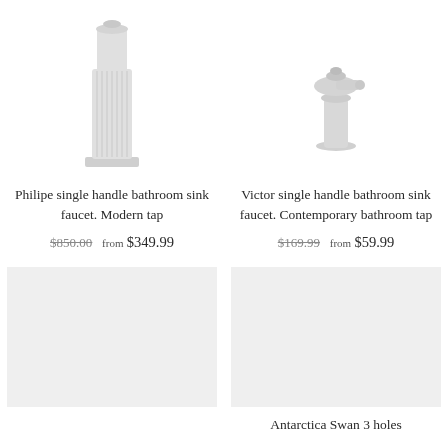[Figure (photo): Philipe single handle bathroom sink faucet product image - white/gray column-style faucet]
[Figure (photo): Victor single handle bathroom sink faucet product image - compact gray faucet]
Philipe single handle bathroom sink faucet. Modern tap
$850.00  from $349.99
Victor single handle bathroom sink faucet. Contemporary bathroom tap
$169.99  from $59.99
[Figure (photo): Product image placeholder - gray background]
[Figure (photo): Product image placeholder - gray background (Antarctica Swan 3 holes)]
Antarctica Swan 3 holes